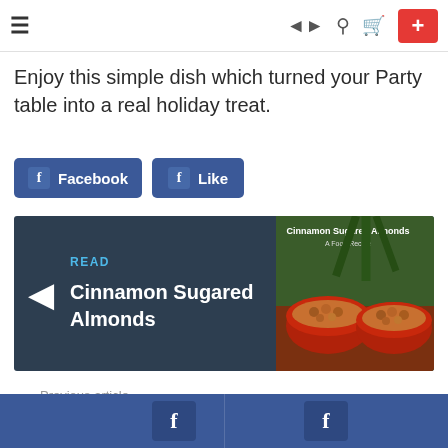Navigation header with hamburger menu, share, search, cart icons and a red plus button
Enjoy this simple dish which turned your Party table into a real holiday treat.
[Figure (screenshot): Facebook and Like buttons in blue]
[Figure (screenshot): READ card with left arrow, 'READ' label, 'Cinnamon Sugared Almonds' title, and a food photo of sugared almonds in red bowls]
Previous article
Bottom bar with two Facebook icon buttons